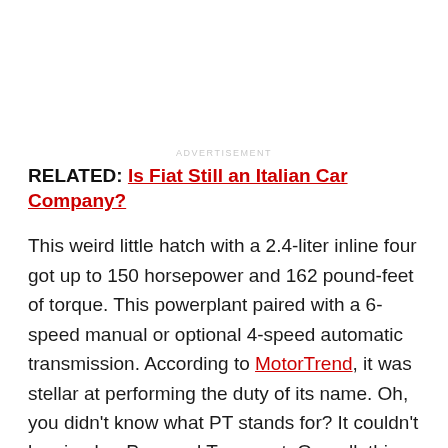ADVERTISEMENT
RELATED: Is Fiat Still an Italian Car Company?
This weird little hatch with a 2.4-liter inline four got up to 150 horsepower and 162 pound-feet of torque. This powerplant paired with a 6-speed manual or optional 4-speed automatic transmission. According to MotorTrend, it was stellar at performing the duty of its name. Oh, you didn't know what PT stands for? It couldn't be simpler: Personal Transport. Overall, this